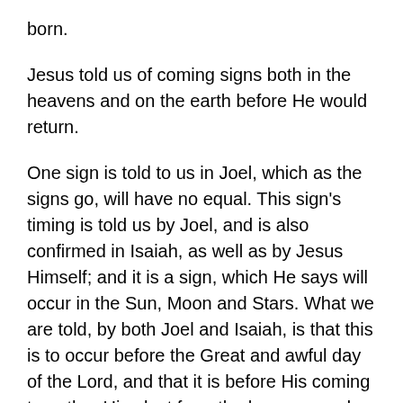born.
Jesus told us of coming signs both in the heavens and on the earth before He would return.
One sign is told to us in Joel, which as the signs go, will have no equal. This sign’s timing is told us by Joel, and is also confirmed in Isaiah, as well as by Jesus Himself; and it is a sign, which He says will occur in the Sun, Moon and Stars. What we are told, by both Joel and Isaiah, is that this is to occur before the Great and awful day of the Lord, and that it is before His coming to gather His elect from the heavens and the earth, making it a sign of that coming.
Jesus had stated it this way: